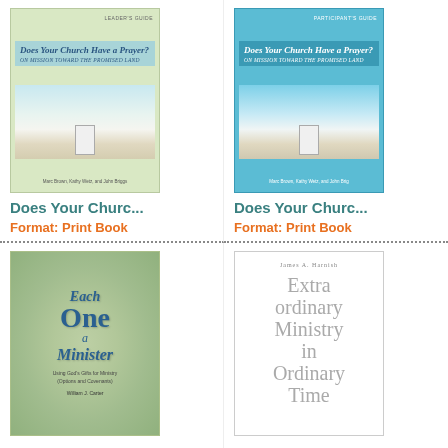[Figure (illustration): Book cover: Does Your Church Have a Prayer? On Mission Toward the Promised Land — green cover, Leader's Guide]
Does Your Churc...
Format: Print Book
[Figure (illustration): Book cover: Does Your Church Have a Prayer? On Mission Toward the Promised Land — blue cover, Participant's Guide]
Does Your Churc...
Format: Print Book
[Figure (illustration): Book cover: Each One a Minister — Using God's Gifts for Ministry, Options and Covenants, by William J. Carter]
[Figure (illustration): Book cover: Extraordinary Ministry in Ordinary Time by James A. Harnish — white cover with grey text]